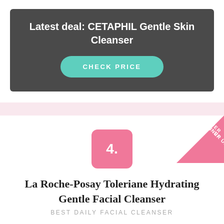Latest deal: CETAPHIL Gentle Skin Cleanser
CHECK PRICE
[Figure (infographic): Runner Up diagonal banner in pink with white text]
4.
La Roche-Posay Toleriane Hydrating Gentle Facial Cleanser
BEST DAILY FACIAL CLEANSER